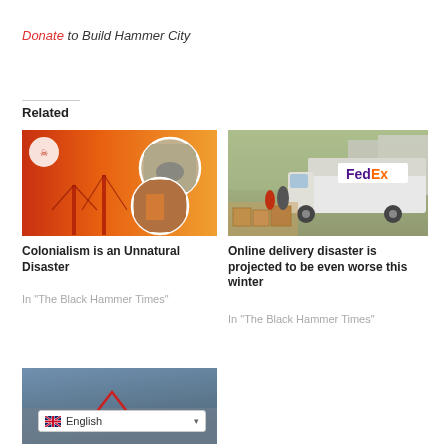Donate to Build Hammer City
Related
[Figure (photo): Composite image showing Golden Gate Bridge with orange/red fire haze and circular inset photos of disaster scenes]
Colonialism is an Unnatural Disaster
In "The Black Hammer Times"
[Figure (photo): Photo of FedEx delivery truck on a city street with boxes scattered on the ground and people around them]
Online delivery disaster is projected to be even worse this winter
In "The Black Hammer Times"
[Figure (photo): Aerial or ground-level photo with blue-gray tones showing a structure with a red triangular symbol]
English